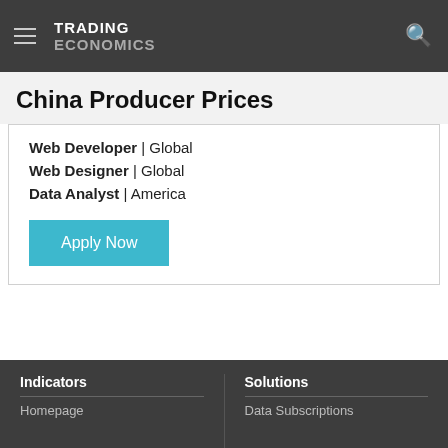TRADING ECONOMICS
China Producer Prices
Web Developer | Global
Web Designer | Global
Data Analyst | America
Apply Now
Indicators  Homepage  |  Solutions  Data Subscriptions